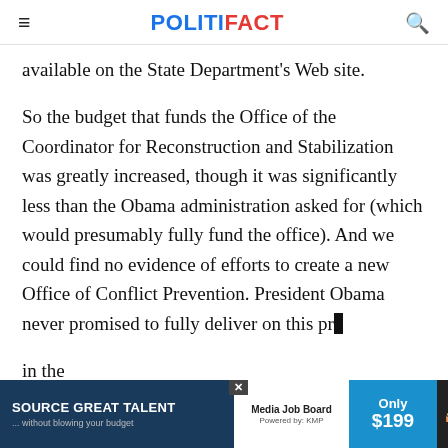POLITIFACT
available on the State Department's Web site.
So the budget that funds the Office of the Coordinator for Reconstruction and Stabilization was greatly increased, though it was significantly less than the Obama administration asked for (which would presumably fully fund the office). And we could find no evidence of efforts to create a new Office of Conflict Prevention. President Obama never promised to fully deliver on this pro[mise] in the [...]